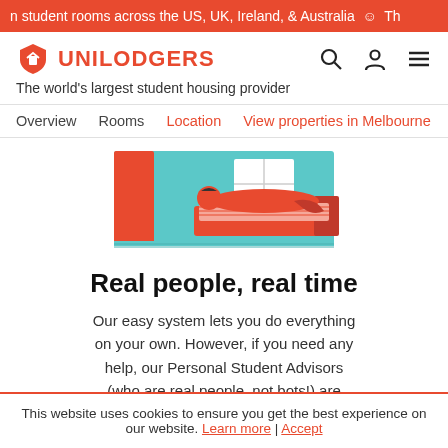n student rooms across the US, UK, Ireland, & Australia  ☺  Th
[Figure (logo): Unilodgers shield logo in orange/red with house icon, followed by UNILODGERS text in orange]
The world's largest student housing provider
Overview   Rooms   Location   View properties in Melbourne
[Figure (illustration): Illustration of a student lying on a bed in a room with red and teal color scheme]
Real people, real time
Our easy system lets you do everything on your own. However, if you need any help, our Personal Student Advisors (who are real people, not bots!) are
This website uses cookies to ensure you get the best experience on our website. Learn more | Accept